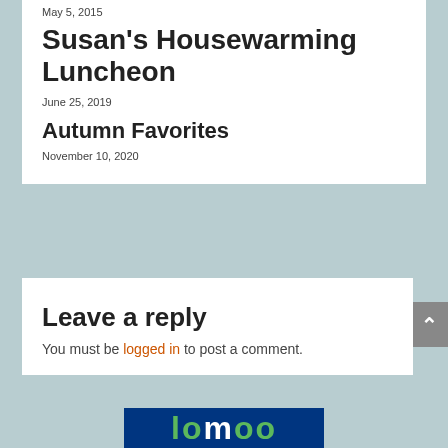May 5, 2015
Susan's Housewarming Luncheon
June 25, 2019
Autumn Favorites
November 10, 2020
Leave a reply
You must be logged in to post a comment.
[Figure (logo): Partial logo visible at bottom of page, green letters on dark blue background]